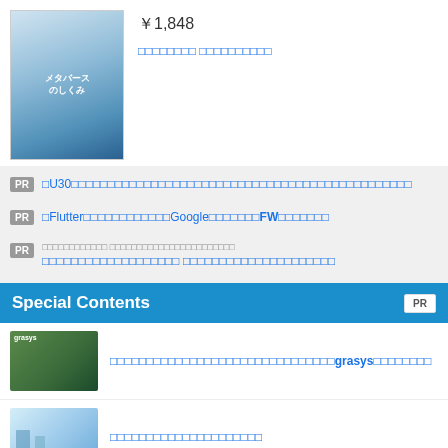[Figure (illustration): Book cover thumbnail for a book about Metaverse mechanisms]
￥1,848
□□□□□□□□ □□□□□□□□□□
PR □U30□□□□□□□□□□□□□□□□□□□□□□□□□□□□□□□□□□□□□□□□□□□□□□
PR □Flutter□□□□□□□□□□□□Google□□□□□□□FW□□□□□□□
PR □□□□□□□□□□□□□□□□□□□ □□□□□□□□□□□□□□□□□□□□□
Special Contents
[Figure (photo): Two people standing outdoors with grasys branding]
□□□□□□□□□□□□□□□□□□□□□□□□□□□□□□□grasys□□□□□□□□
[Figure (illustration): Technical illustration with figures and digital elements]